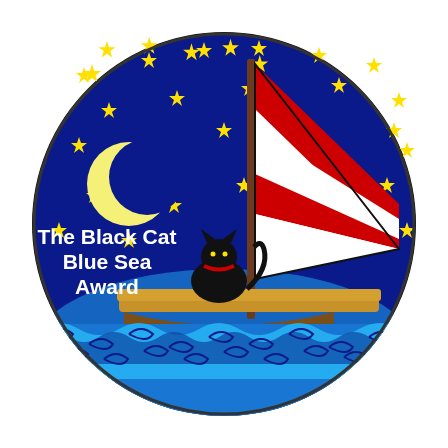[Figure (illustration): Circular logo for The Black Cat Blue Sea Award. A dark navy blue circle containing a night sky with yellow stars scattered throughout. On the left side is a yellow crescent moon. In the center-right is a brown mast with red and white striped sails. A black cat with a red collar sits in a wooden sailboat with a tan/gold colored hull. Below the boat are stylized blue ocean waves in teal and dark blue. White text on the left reads 'The Black Cat Blue Sea Award'.]